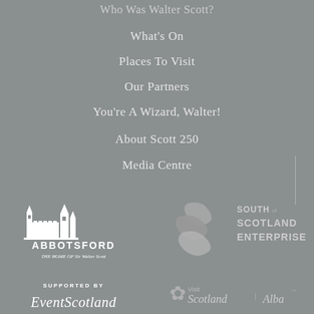Who Was Walter Scott?
What's On
Places To Visit
Our Partners
You're A Wizard, Walter!
About Scott 250
Media Centre
[Figure (logo): Abbotsford - The Home of Sir Walter Scott logo in white]
[Figure (logo): South of Scotland Enterprise logo in grey/white]
[Figure (logo): Supported by EventScotland logo in white]
[Figure (logo): Visit Scotland | Alba logo in grey/white]